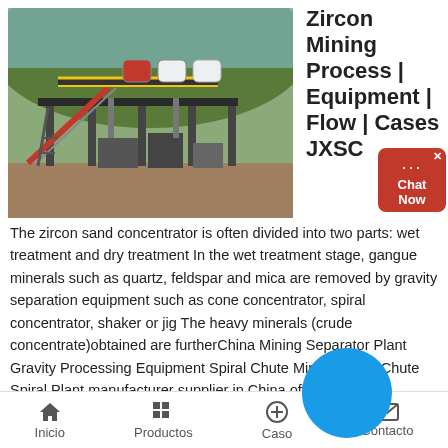[Figure (photo): Industrial mining/mineral processing plant with conveyor belts, tanks, and steel structures set against a forested hillside background.]
Zircon Mining Process | Equipment | Flow | Cases JXSC
The zircon sand concentrator is often divided into two parts: wet treatment and dry treatment In the wet treatment stage, gangue minerals such as quartz, feldspar and mica are removed by gravity separation equipment such as cone concentrator, spiral concentrator, shaker or jig The heavy minerals (crude concentrate)obtained are furtherChina Mining Separator Plant Gravity Processing Equipment Spiral Chute Mining Spiral Chute Spiral Plant manufacturer supplier in China offering Mining
Inicio   Productos   Caso   Contacto